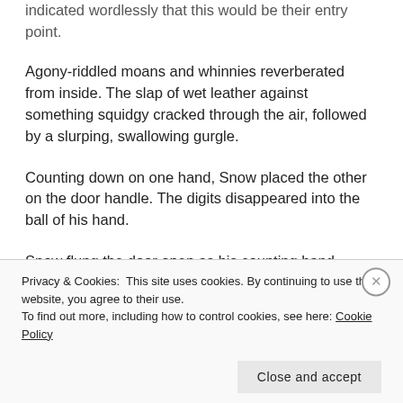indicated wordlessly that this would be their entry point.
Agony-riddled moans and whinnies reverberated from inside. The slap of wet leather against something squidgy cracked through the air, followed by a slurping, swallowing gurgle.
Counting down on one hand, Snow placed the other on the door handle. The digits disappeared into the ball of his hand.
Snow flung the door open as his counting hand formed a
Privacy & Cookies: This site uses cookies. By continuing to use this website, you agree to their use.
To find out more, including how to control cookies, see here: Cookie Policy